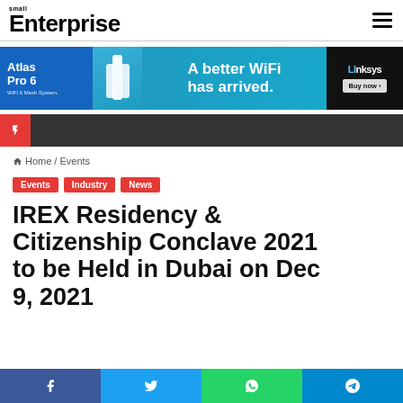Small Enterprise
[Figure (other): Linksys Atlas Pro 6 WiFi 6 Mesh System advertisement banner - A better WiFi has arrived. Buy now.]
Home / Events
Events  Industry  News
IREX Residency & Citizenship Conclave 2021 to be Held in Dubai on Dec 9, 2021
f  t  WhatsApp  Telegram